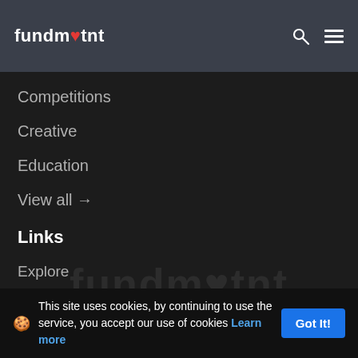fundm❤tnt
Competitions
Creative
Education
View all →
Links
Explore
Create Campaign
Featured Campaign
Login
Sign up
🍪 This site uses cookies, by continuing to use the service, you accept our use of cookies Learn more Got It!